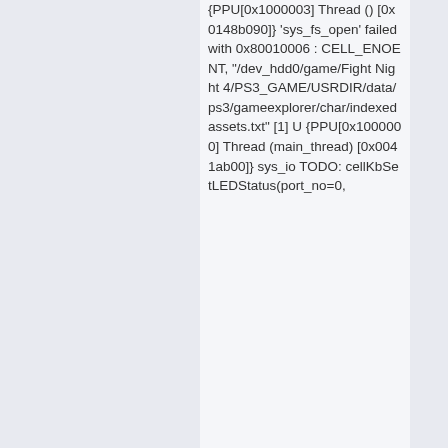{PPU[0x1000003] Thread () [0x0148b090]} 'sys_fs_open' failed with 0x80010006 : CELL_ENOENT, "/dev_hdd0/game/Fight Night 4/PS3_GAME/USRDIR/data/ps3/gameexplorer/char/indexedassets.txt" [1] U {PPU[0x1000000] Thread (main_thread) [0x0041ab00]} sys_io TODO: cellKbSetLEDStatus(port_no=0,